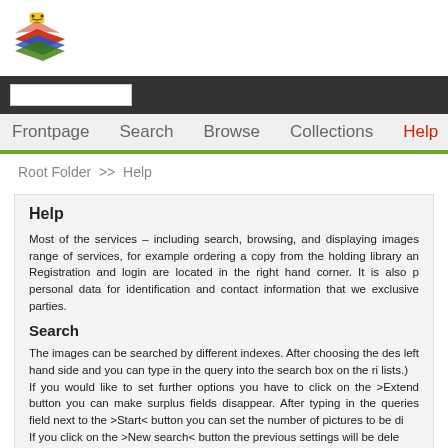[Figure (logo): Colorful layered diamond/rhombus logo with a small yellow block on top, in red, blue, green colors]
Frontpage   Search   Browse   Collections   Help
Root Folder >> Help
Help
Most of the services – including search, browsing, and displaying images range of services, for example ordering a copy from the holding library an Registration and login are located in the right hand corner. It is also p personal data for identification and contact information that we exclusive parties.
Search
The images can be searched by different indexes. After choosing the des left hand side and you can type in the query into the search box on the ri lists.) If you would like to set further options you have to click on the >Extend button you can make surplus fields disappear. After typing in the queries field next to the >Start< button you can set the number of pictures to be di If you click on the >New search< button the previous settings will be dele